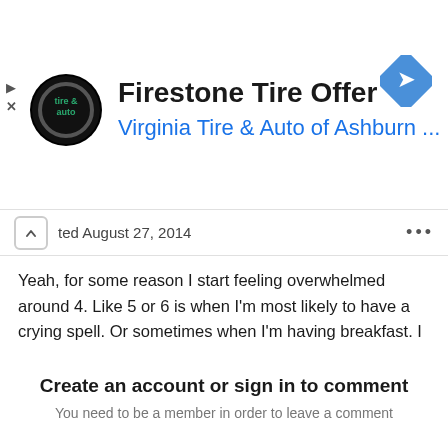[Figure (screenshot): Advertisement banner for Firestone Tire Offer from Virginia Tire & Auto of Ashburn, with logo and navigation arrow icon]
ted August 27, 2014
Yeah, for some reason I start feeling overwhelmed around 4. Like 5 or 6 is when I'm most likely to have a crying spell. Or sometimes when I'm having breakfast. I don't know why it always seems to be one of those two times during the day (or sometimes both).
Create an account or sign in to comment
You need to be a member in order to leave a comment